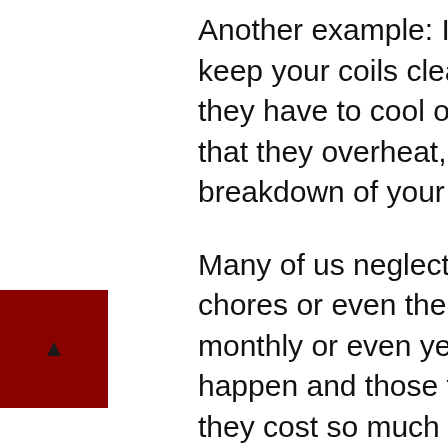Another example: In refrigerators, it's important to keep your coils clean to your condenser because they have to cool off the compressor. So the more that they overheat, the more chance of a thermal breakdown of your compressor is likely to happen.
Many of us neglect our daily chores or our regular chores or even the chores that we have weekly or monthly or even yearly, but this causes things to happen and those things are detrimental because they cost so much money to fix or to replace. If you take your car in to